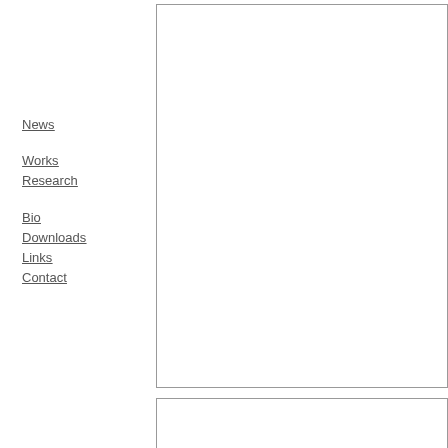News
Works
Research
Bio
Downloads
Links
Contact